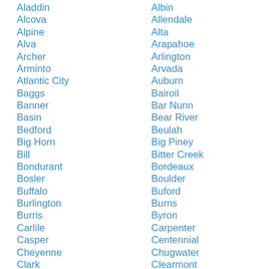Aladdin
Alcova
Alpine
Alva
Archer
Arminto
Atlantic City
Baggs
Banner
Basin
Bedford
Big Horn
Bill
Bondurant
Bosler
Buffalo
Burlington
Burris
Carlile
Casper
Cheyenne
Clark
Cody
Albin
Allendale
Alta
Arapahoe
Arlington
Arvada
Auburn
Bairoil
Bar Nunn
Bear River
Beulah
Big Piney
Bitter Creek
Bordeaux
Boulder
Buford
Burns
Byron
Carpenter
Centennial
Chugwater
Clearmont
Cokeville